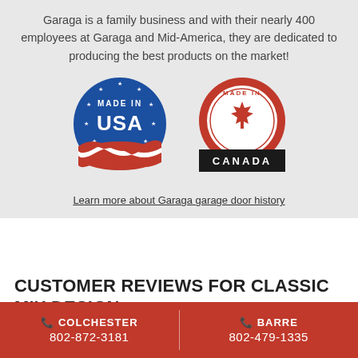Garaga is a family business and with their nearly 400 employees at Garaga and Mid-America, they are dedicated to producing the best products on the market!
[Figure (illustration): Made in USA badge - blue circular seal with stars and American flag design, text reads MADE IN USA]
[Figure (illustration): Made in Canada badge - red circular seal with Canadian maple leaf, text reads MADE IN CANADA]
Learn more about Garaga garage door history
CUSTOMER REVIEWS FOR CLASSIC MIX DESIGN
COLCHESTER 802-872-3181 | BARRE 802-479-1335